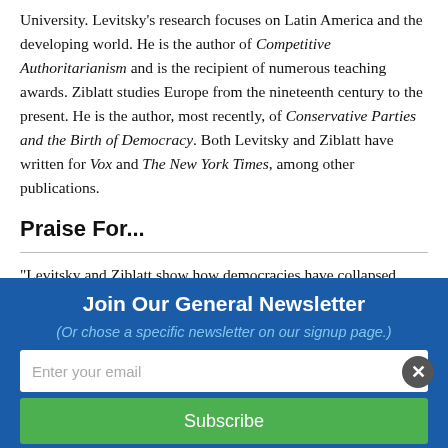University. Levitsky's research focuses on Latin America and the developing world. He is the author of Competitive Authoritarianism and is the recipient of numerous teaching awards. Ziblatt studies Europe from the nineteenth century to the present. He is the author, most recently, of Conservative Parties and the Birth of Democracy. Both Levitsky and Ziblatt have written for Vox and The New York Times, among other publications.
Praise For...
“Levitsky and Ziblatt show how democracies have collapsed elsewhere—not just through
[Figure (other): Newsletter signup banner with blue background, title 'Join Our General Newsletter', subtitle '(Or chose a specific newsletter on our signup page.)', email input field, and green Subscribe button. A close (X) button is in the lower right.]